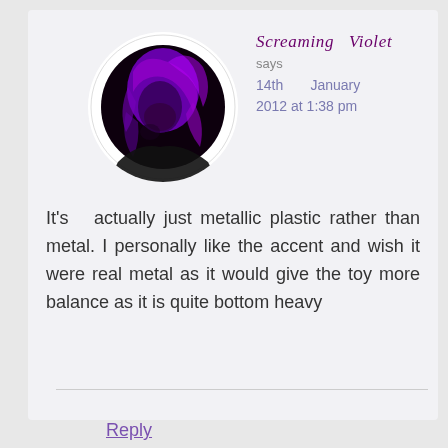[Figure (photo): Circular avatar photo of a person with purple-tinted hair, looking down, dark background]
Screaming Violet
says
14th January 2012 at 1:38 pm
It's actually just metallic plastic rather than metal. I personally like the accent and wish it were real metal as it would give the toy more balance as it is quite bottom heavy
Reply